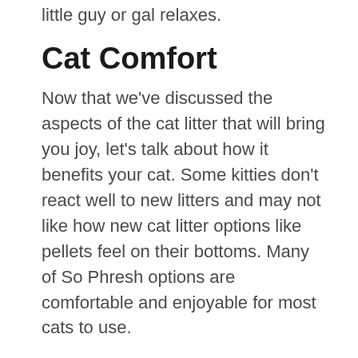little guy or gal relaxes.
Cat Comfort
Now that we've discussed the aspects of the cat litter that will bring you joy, let's talk about how it benefits your cat. Some kitties don't react well to new litters and may not like how new cat litter options like pellets feel on their bottoms. Many of So Phresh options are comfortable and enjoyable for most cats to use.
There are some furry friends who enjoy the clay or silica option better than the wood pellets. It's